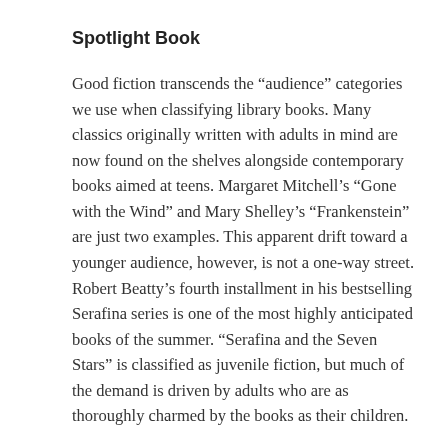Spotlight Book
Good fiction transcends the “audience” categories we use when classifying library books. Many classics originally written with adults in mind are now found on the shelves alongside contemporary books aimed at teens. Margaret Mitchell’s “Gone with the Wind” and Mary Shelley’s “Frankenstein” are just two examples. This apparent drift toward a younger audience, however, is not a one-way street. Robert Beatty’s fourth installment in his bestselling Serafina series is one of the most highly anticipated books of the summer. “Serafina and the Seven Stars” is classified as juvenile fiction, but much of the demand is driven by adults who are as thoroughly charmed by the books as their children.
As the Guardian of Biltmore Estate, Serafina has prevailed against the dark forces that threaten the